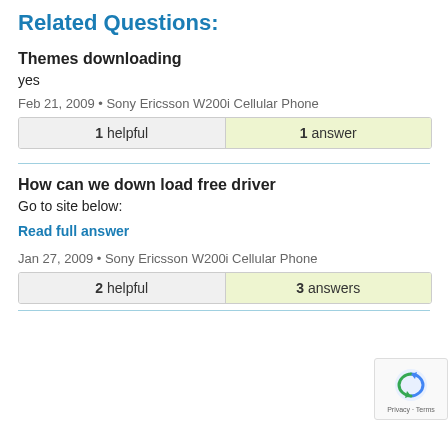Related Questions:
Themes downloading
yes
Feb 21, 2009 • Sony Ericsson W200i Cellular Phone
| 1 helpful | 1 answer |
How can we down load free driver
Go to site below:
Read full answer
Jan 27, 2009 • Sony Ericsson W200i Cellular Phone
| 2 helpful | 3 answers |